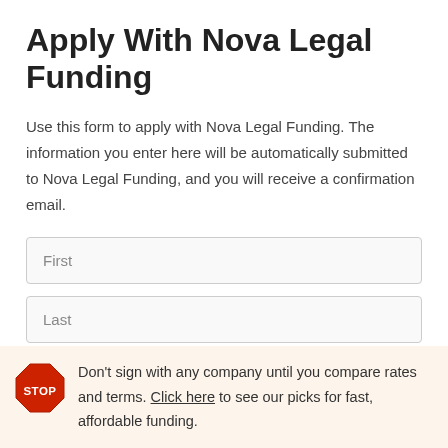Apply With Nova Legal Funding
Use this form to apply with Nova Legal Funding. The information you enter here will be automatically submitted to Nova Legal Funding, and you will receive a confirmation email.
First
Last
Phone
Don't sign with any company until you compare rates and terms. Click here to see our picks for fast, affordable funding.